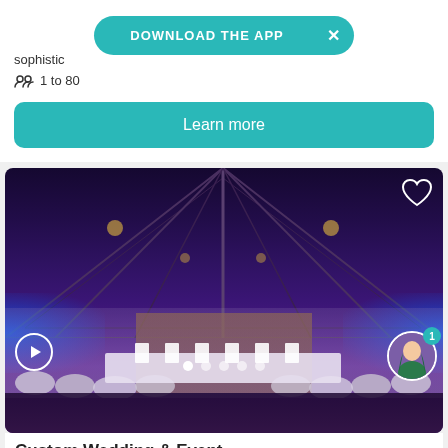sophistic…
1 to 80
DOWNLOAD THE APP
Learn more
[Figure (photo): Interior of a banquet/wedding venue with vaulted ceiling, round tables with white chair covers and place settings, wooden dance floor, and blue uplighting along the walls.]
Custom Wedding & Events…